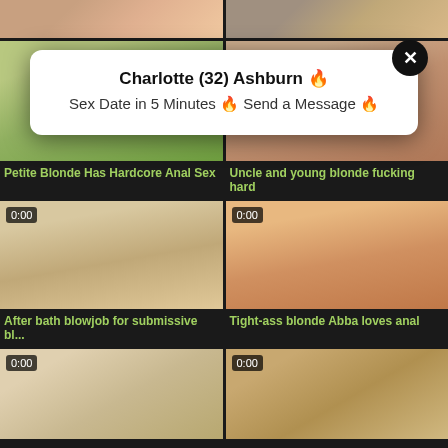[Figure (screenshot): Adult video thumbnail grid with popup overlay showing dating ad. Top row two thumbnails partially visible. Middle rows show video thumbnails with 0:00 time badges and green titles. A white popup overlay with close button reads 'Charlotte (32) Ashburn' and 'Sex Date in 5 Minutes – Send a Message'.]
Charlotte (32) Ashburn 🔥
Sex Date in 5 Minutes 🔥 Send a Message 🔥
Petite Blonde Has Hardcore Anal Sex
Uncle and young blonde fucking hard
After bath blowjob for submissive bl...
Tight-ass blonde Abba loves anal